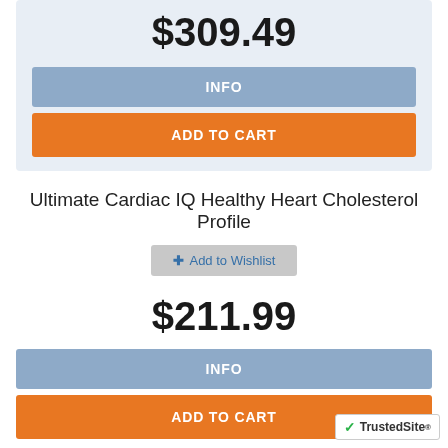$309.49
INFO
ADD TO CART
Ultimate Cardiac IQ Healthy Heart Cholesterol Profile
Add to Wishlist
$211.99
INFO
ADD TO CART
Ultimate Checkup
Add to Wishlist
[Figure (logo): TrustedSite badge with green checkmark]